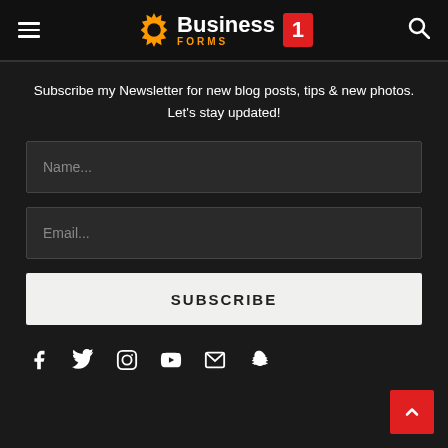Business Forms 1
Subscribe my Newsletter for new blog posts, tips & new photos. Let's stay updated!
[Figure (screenshot): Name input field placeholder]
[Figure (screenshot): Email input field placeholder]
[Figure (screenshot): SUBSCRIBE button]
[Figure (screenshot): Social media icons: Facebook, Twitter, Instagram, YouTube, Mail, Snapchat]